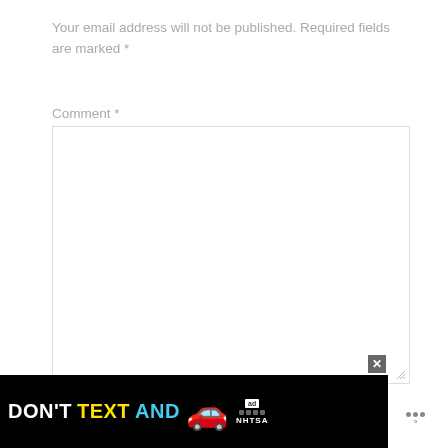Your email address will not be published. Required fields are marked *
Comment *
Name *
[Figure (screenshot): Black advertisement banner reading DON'T TEXT AND [car emoji] with ad and NHTSA logos, and a close button]